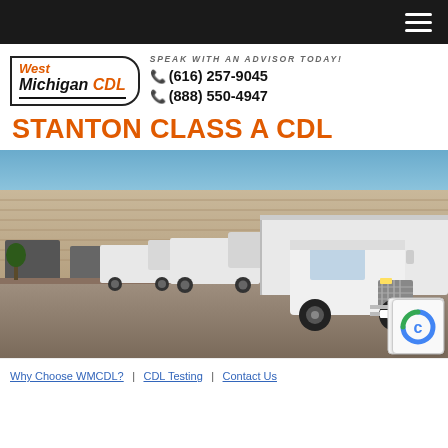Navigation bar with hamburger menu
[Figure (logo): West Michigan CDL logo with italic text and border]
SPEAK WITH AN ADVISOR TODAY!
☎(616) 257-9045
☎(888) 550-4947
STANTON CLASS A CDL
[Figure (photo): Row of white commercial trucks/semi-trucks parked in front of a brick warehouse building under a clear blue sky]
Why Choose WMCDL? | CDL Testing | Contact Us